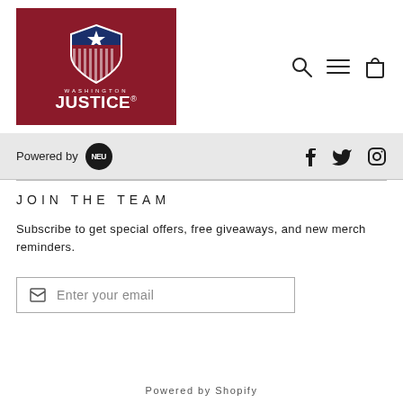[Figure (logo): Washington Justice esports team logo on dark red background — shield with star, blue stripe, and Justice text]
[Figure (infographic): Navigation icons: search (magnifying glass), menu (hamburger lines), cart (shopping bag)]
Powered by NEU
[Figure (infographic): Social media icons: Facebook, Twitter, Instagram]
JOIN THE TEAM
Subscribe to get special offers, free giveaways, and new merch reminders.
Enter your email
Powered by Shopify